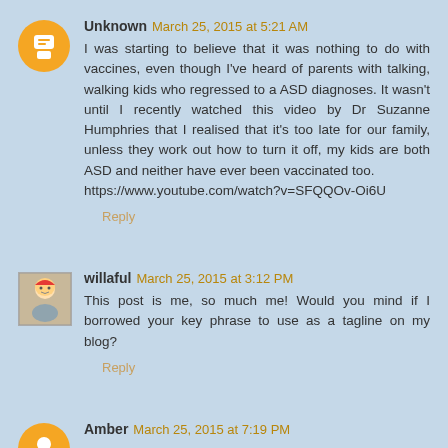Unknown March 25, 2015 at 5:21 AM — I was starting to believe that it was nothing to do with vaccines, even though I've heard of parents with talking, walking kids who regressed to a ASD diagnoses. It wasn't until I recently watched this video by Dr Suzanne Humphries that I realised that it's too late for our family, unless they work out how to turn it off, my kids are both ASD and neither have ever been vaccinated too. https://www.youtube.com/watch?v=SFQQOv-Oi6U — Reply
willaful March 25, 2015 at 3:12 PM — This post is me, so much me! Would you mind if I borrowed your key phrase to use as a tagline on my blog? — Reply
Amber March 25, 2015 at 7:19 PM